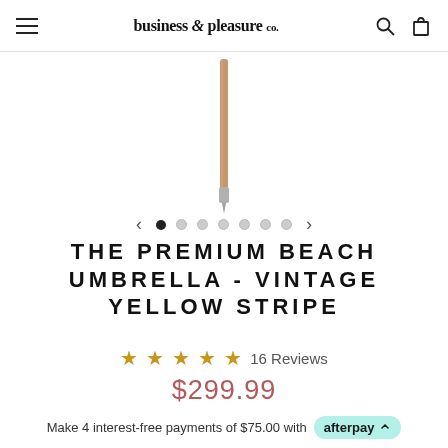business & pleasure co. [navigation header with hamburger menu, search, and cart icons]
[Figure (photo): Partial view of a beach umbrella pole in wood/tan color with a silver pointed tip at the bottom, shown vertically centered against a white background. Below the image are carousel navigation dots (1 active, 6 inactive) with left and right arrows.]
THE PREMIUM BEACH UMBRELLA - VINTAGE YELLOW STRIPE
★★★★★ 16 Reviews
$299.99
Make 4 interest-free payments of $75.00 with afterpay